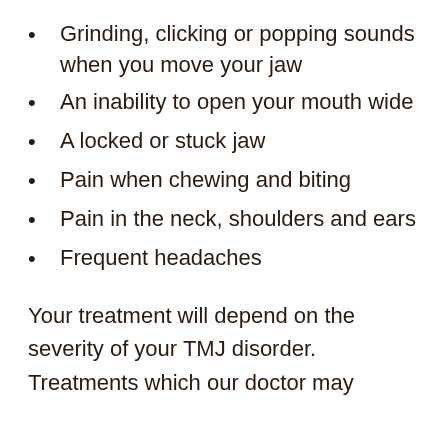Grinding, clicking or popping sounds when you move your jaw
An inability to open your mouth wide
A locked or stuck jaw
Pain when chewing and biting
Pain in the neck, shoulders and ears
Frequent headaches
Your treatment will depend on the severity of your TMJ disorder. Treatments which our doctor may